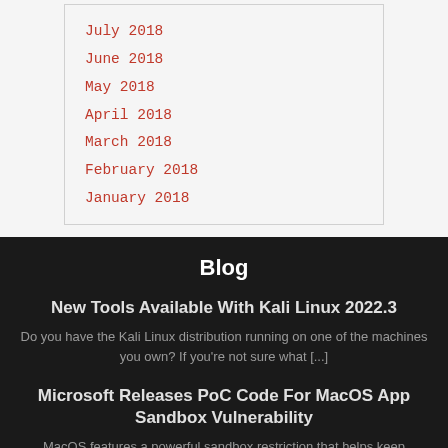July 2018
June 2018
May 2018
April 2018
March 2018
February 2018
January 2018
Blog
New Tools Available With Kali Linux 2022.3
Do you have the Kali Linux distribution running on one of the machines you own?  If you're not sure what [...]
Microsoft Releases PoC Code For MacOS App Sandbox Vulnerability
MacOS features a powerful sandbox restriction that helps keep modern Apple computers safe by limiting how code